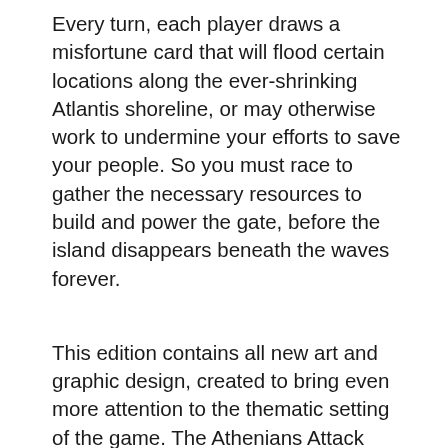Every turn, each player draws a misfortune card that will flood certain locations along the ever-shrinking Atlantis shoreline, or may otherwise work to undermine your efforts to save your people. So you must race to gather the necessary resources to build and power the gate, before the island disappears beneath the waves forever.
This edition contains all new art and graphic design, created to bring even more attention to the thematic setting of the game. The Athenians Attack phase has been replaced with the Wrath of the Gods phase, requiring more strategic planning and adding to the sense of urgency. Now, instead of placing workers in an Atlantean Navy, players must cooperatively decide to flood a set number of tiles at the end of each round. To further aid them in their task, Councilor player powers have been expanded and made more impactful, and the knowledge deck has similarly been